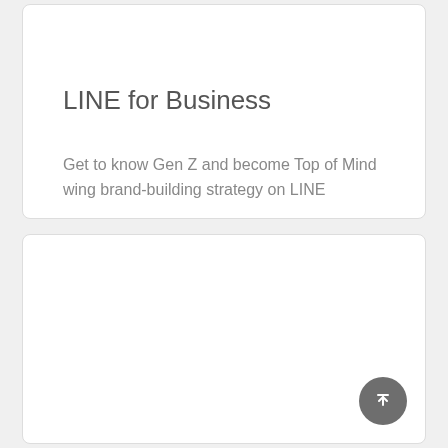LINE for Business
Get to know Gen Z and become Top of Mind wing brand-building strategy on LINE
[Figure (other): Empty white card panel at the bottom of the page with a scroll-to-top button in the bottom right corner]